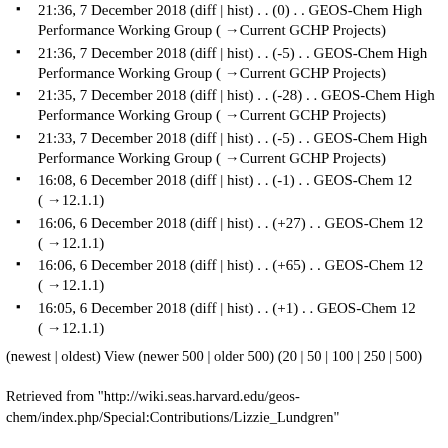21:36, 7 December 2018 (diff | hist) . . (0) . . GEOS-Chem High Performance Working Group (→Current GCHP Projects)
21:36, 7 December 2018 (diff | hist) . . (-5) . . GEOS-Chem High Performance Working Group (→Current GCHP Projects)
21:35, 7 December 2018 (diff | hist) . . (-28) . . GEOS-Chem High Performance Working Group (→Current GCHP Projects)
21:33, 7 December 2018 (diff | hist) . . (-5) . . GEOS-Chem High Performance Working Group (→Current GCHP Projects)
16:08, 6 December 2018 (diff | hist) . . (-1) . . GEOS-Chem 12 (→12.1.1)
16:06, 6 December 2018 (diff | hist) . . (+27) . . GEOS-Chem 12 (→12.1.1)
16:06, 6 December 2018 (diff | hist) . . (+65) . . GEOS-Chem 12 (→12.1.1)
16:05, 6 December 2018 (diff | hist) . . (+1) . . GEOS-Chem 12 (→12.1.1)
(newest | oldest) View (newer 500 | older 500) (20 | 50 | 100 | 250 | 500)
Retrieved from "http://wiki.seas.harvard.edu/geos-chem/index.php/Special:Contributions/Lizzie_Lundgren"